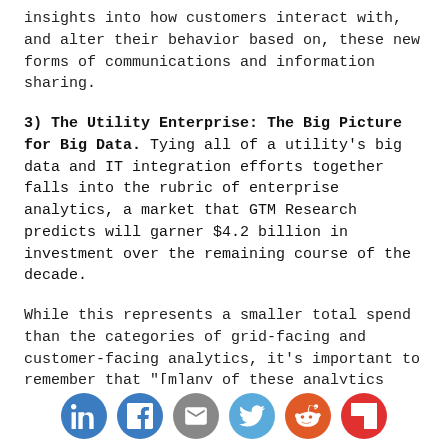insights into how customers interact with, and alter their behavior based on, these new forms of communications and information sharing.
3) The Utility Enterprise: The Big Picture for Big Data. Tying all of a utility's big data and IT integration efforts together falls into the rubric of enterprise analytics, a market that GTM Research predicts will garner $4.2 billion in investment over the remaining course of the decade.
While this represents a smaller total spend than the categories of grid-facing and customer-facing analytics, it's important to remember that "[m]any of these analytics and/or capabilities will rely on the same data, such that sound enterprise IT architecture design will play a vital role in their
[Figure (infographic): Social sharing bar with icons for LinkedIn, Facebook, Email, Twitter, Reddit, and Flipboard]